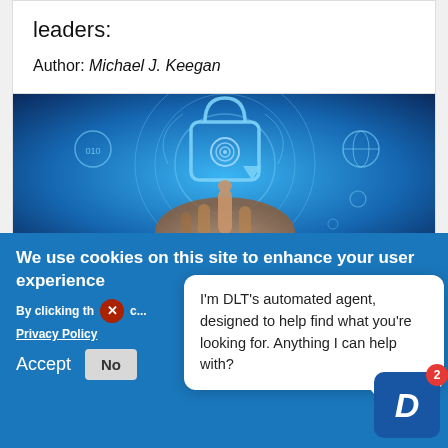leaders:
Author: Michael J. Keegan
[Figure (photo): A hand pointing at a glowing blue digital padlock with fingerprint icon, surrounded by cybersecurity interface elements on a blue background]
We use cookies on this site to enhance your user experience
By clicking th... Privacy Policy
[Figure (screenshot): DLT automated agent chat bubble saying: I'm DLT's automated agent, designed to help find what you're looking for. Anything I can help with?]
Accept
No